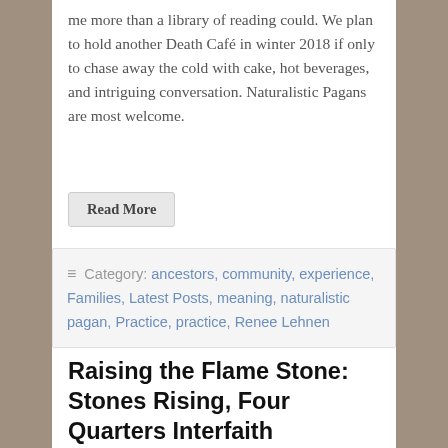me more than a library of reading could. We plan to hold another Death Café in winter 2018 if only to chase away the cold with cake, hot beverages, and intriguing conversation. Naturalistic Pagans are most welcome.
Read More
Category: ancestors, community, experience, Families, Latest Posts, meaning, naturalistic pagan, Practice, practice, Renee Lehnen
Raising the Flame Stone: Stones Rising, Four Quarters Interfaith Ceremony, Part 2 by Moine Michelle